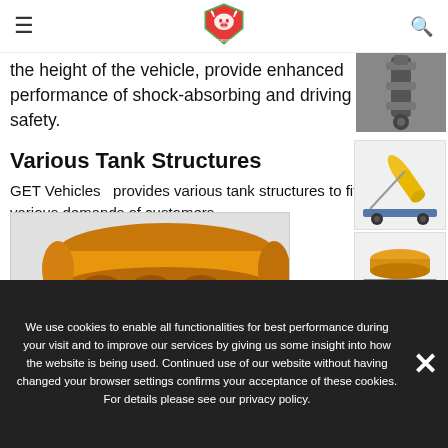GET Industry navigation header with logo, hamburger menu, and search icon
the height of the vehicle, provide enhanced performance of shock-absorbing and driving safety.
[Figure (photo): Close-up photo of vehicle shock absorber / suspension component]
Various Tank Structures
GET Vehicles  provides various tank structures to fit various demands of customers.
[Figure (illustration): 3D illustration of a tilting tank trailer with yellow cylindrical tank tilted upward on a blue semi-trailer frame]
[Figure (illustration): 3D illustration of a low-profile orange/gold cylindrical tank on a semi-trailer with multiple axles]
[Figure (illustration): Main large 3D illustration of orange/gold cylindrical tank mounted on a trailer frame with multiple dark cylindrical supports and dual axle wheels]
We use cookies to enable all functionalities for best performance during your visit and to improve our services by giving us some insight into how the website is being used. Continued use of our website without having changed your browser settings confirms your acceptance of these cookies. For details please see our privacy policy.